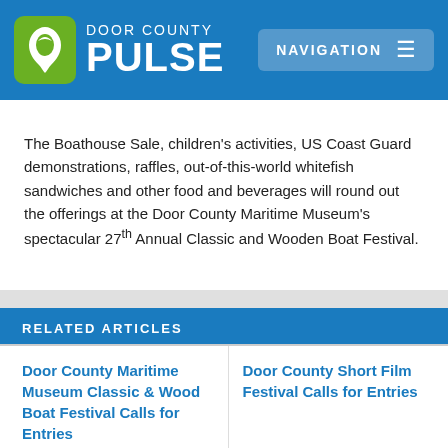DOOR COUNTY PULSE | NAVIGATION
The Boathouse Sale, children's activities, US Coast Guard demonstrations, raffles, out-of-this-world whitefish sandwiches and other food and beverages will round out the offerings at the Door County Maritime Museum's spectacular 27th Annual Classic and Wooden Boat Festival.
RELATED ARTICLES
Door County Maritime Museum Classic & Wood Boat Festival Calls for Entries
Door County Short Film Festival Calls for Entries